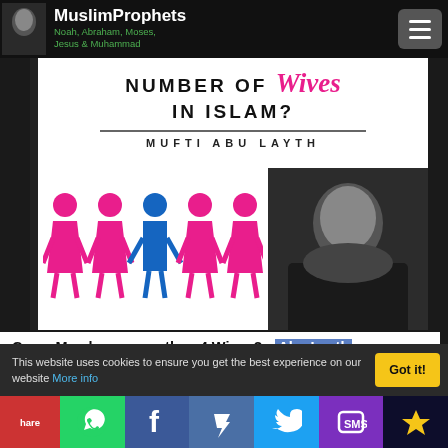MuslimProphets Noah, Abraham, Moses, Jesus & Muhammad
[Figure (screenshot): Video thumbnail showing 'NUMBER OF Wives IN ISLAM? MUFTI ABU LAYTH' with person icons and a speaker photo]
Can a Man have more than 4 Wives? - Abu Layth
[Figure (infographic): Comment bubble with number 1 and green online dot]
1220 views · 2 hrs ago | 3 years ago
This website uses cookies to ensure you get the best experience on our website More info
Got it!